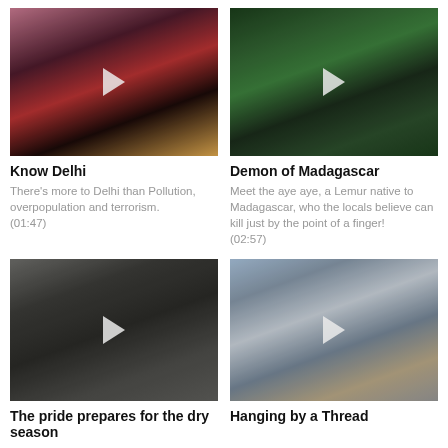[Figure (photo): Video thumbnail of crowded scene in Delhi with people in colorful clothing, play button overlay]
Know Delhi
There's more to Delhi than Pollution, overpopulation and terrorism. (01:47)
[Figure (photo): Video thumbnail of lush green jungle/forest in Madagascar, play button overlay]
Demon of Madagascar
Meet the aye aye, a Lemur native to Madagascar, who the locals believe can kill just by the point of a finger! (02:57)
[Figure (photo): Black and white video thumbnail of a lion (pride) in dry grassland, play button overlay]
The pride prepares for the dry season
[Figure (photo): Video thumbnail of a large aircraft on a runway, play button overlay]
Hanging by a Thread